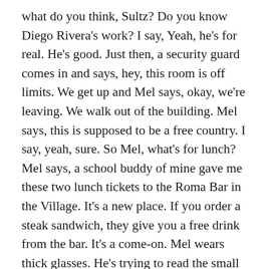what do you think, Sultz? Do you know Diego Rivera's work? I say, Yeah, he's for real. He's good. Just then, a security guard comes in and says, hey, this room is off limits. We get up and Mel says, okay, we're leaving. We walk out of the building. Mel says, this is supposed to be a free country. I say, yeah, sure. So Mel, what's for lunch? Mel says, a school buddy of mine gave me these two lunch tickets to the Roma Bar in the Village. It's a new place. If you order a steak sandwich, they give you a free drink from the bar. It's a come-on. Mel wears thick glasses. He's trying to read the small print. I say, what kind of drink, Mel? He says, a corkscrew. Wait a minute, I got it wrong, he says. I say, you mean,